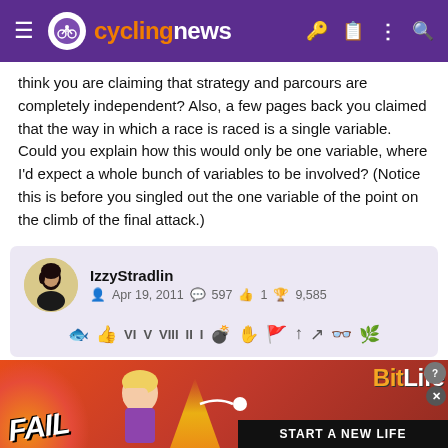cyclingnews
think you are claiming that strategy and parcours are completely independent? Also, a few pages back you claimed that the way in which a race is raced is a single variable. Could you explain how this would only be one variable, where I'd expect a whole bunch of variables to be involved? (Notice this is before you singled out the one variable of the point on the climb of the final attack.)
IzzyStradlin
Apr 19, 2011  597  1  9,585
Oct 4, 2014  #2,717
[Figure (screenshot): BitLife advertisement banner: FAIL text on red background with flame graphics, 'START A NEW LIFE' tagline]